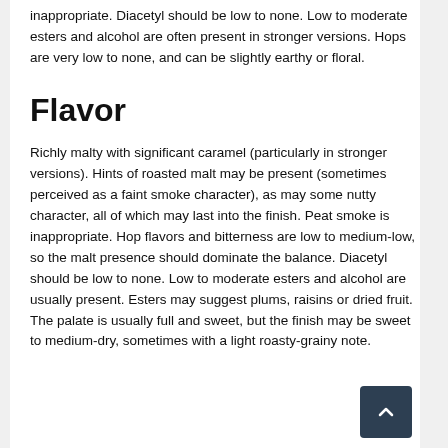inappropriate. Diacetyl should be low to none. Low to moderate esters and alcohol are often present in stronger versions. Hops are very low to none, and can be slightly earthy or floral.
Flavor
Richly malty with significant caramel (particularly in stronger versions). Hints of roasted malt may be present (sometimes perceived as a faint smoke character), as may some nutty character, all of which may last into the finish. Peat smoke is inappropriate. Hop flavors and bitterness are low to medium-low, so the malt presence should dominate the balance. Diacetyl should be low to none. Low to moderate esters and alcohol are usually present. Esters may suggest plums, raisins or dried fruit. The palate is usually full and sweet, but the finish may be sweet to medium-dry, sometimes with a light roasty-grainy note.